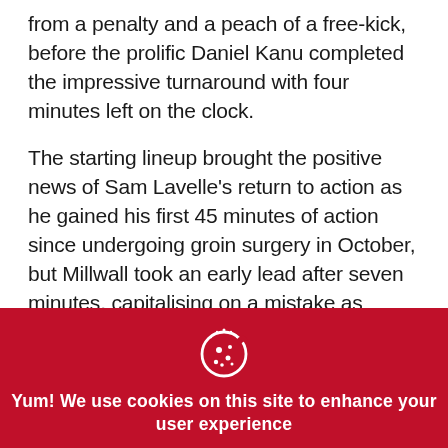from a penalty and a peach of a free-kick, before the prolific Daniel Kanu completed the impressive turnaround with four minutes left on the clock.
The starting lineup brought the positive news of Sam Lavelle's return to action as he gained his first 45 minutes of action since undergoing groin surgery in October, but Millwall took an early lead after seven minutes, capitalising on a mistake as Addicks stopper Nathan Harvey fumbled
[Figure (illustration): White cookie icon with dots on a red background]
Yum! We use cookies on this site to enhance your user experience